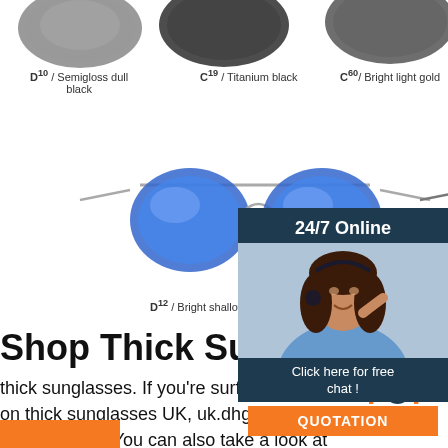[Figure (photo): Three sunglasses product images (dark lenses) shown at top of page, partially cropped]
D¹⁰ / Semigloss dull black    C¹⁹ / Titanium black    C⁶⁰ / Bright light gold
[Figure (photo): Two sunglasses product images: blue mirrored aviator and gray aviator]
D¹² / Bright shallow gun    D¹⁰ / Electro o[ptic]
[Figure (photo): 24/7 Online customer service widget with woman wearing headset, Chat and Quotation button]
Shop Thick Sunglasses
thick sunglasses. If you're surfing through on thick sunglasses UK, uk.dhgate.com is place for you. You can also take a look at range of cats sunglasses to find the perfe enrich your life. If you are seeking for affordable pit vipers sunglasses with the best quality, we have great collections of designs for you.
[Figure (other): TOP back-to-top icon with orange dot decoration and orange/navy text]